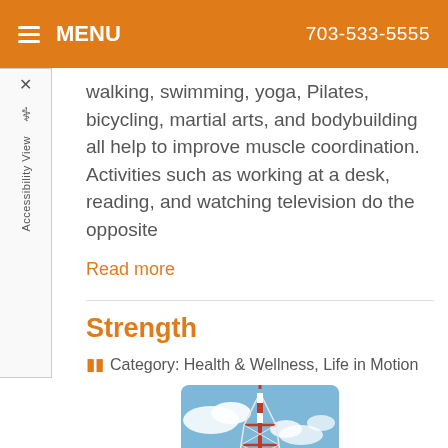MENU   703-533-5555
walking, swimming, yoga, Pilates, bicycling, martial arts, and bodybuilding all help to improve muscle coordination. Activities such as working at a desk, reading, and watching television do the opposite
Read more
Strength
Category: Health & Wellness, Life in Motion
[Figure (photo): Photo of a tall communications tower with red and white lattice structure against a blue sky with clouds]
Str...